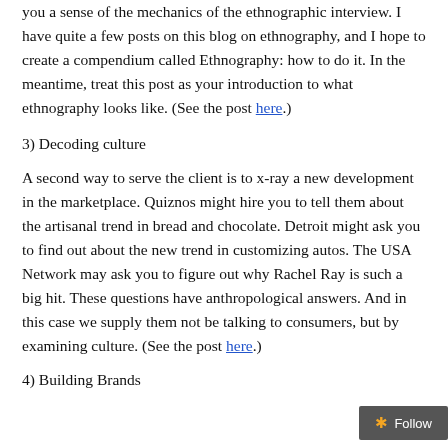you a sense of the mechanics of the ethnographic interview. I have quite a few posts on this blog on ethnography, and I hope to create a compendium called Ethnography: how to do it.  In the meantime, treat this post as your introduction to what ethnography looks like.  (See the post here.)
3) Decoding culture
A second way to serve the client is to x-ray a new development in the marketplace.  Quiznos might hire you to tell them about the artisanal trend in bread and chocolate.  Detroit might ask you to find out about the new trend in customizing autos.  The USA Network may ask you to figure out why Rachel Ray is such a big hit.  These questions have anthropological answers.  And in this case we supply them not be talking to consumers, but by examining culture.   (See the post here.)
4) Building Brands